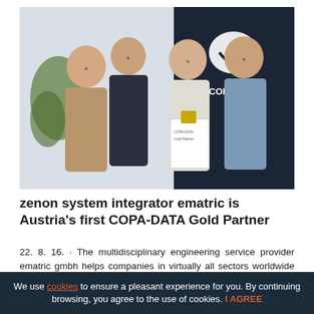[Figure (photo): Four men standing together smiling, holding a COPA-DATA Gold Partner certificate and award. A COPA-DATA branded backdrop is visible in the background with the company logo. A green plant is visible on the left.]
zenon system integrator ematric is Austria's first COPA-DATA Gold Partner
22. 8. 16. · The multidisciplinary engineering service provider ematric gmbh helps companies in virtually all sectors worldwide to improve their efficiency and sustainability through automation and robotics. This success is based on decades of experience with zen
We use cookies to ensure a pleasant experience for you. By continuing browsing, you agree to the use of cookies. I AGREE